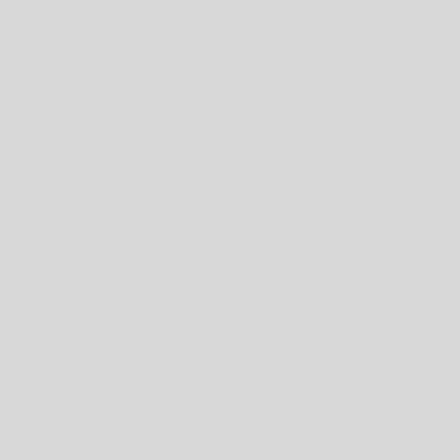reproaches; till our enemies w
half of us was ready to join the blessings of government: and on which our own happiness d Let us never forget more what as highly our laws and libertie when the hazard of losing them
every other point also: and wh industrious, honest, and united of God, nor the connexions of
These then are fundamental ru concern here, beyond two par those, who are in authority ov and direct them to proper rem precautions, the true medium them, how to reconcile all tha renewing any more our suffer distrust our own judgment, ra endeavours, that what they de disposed in these